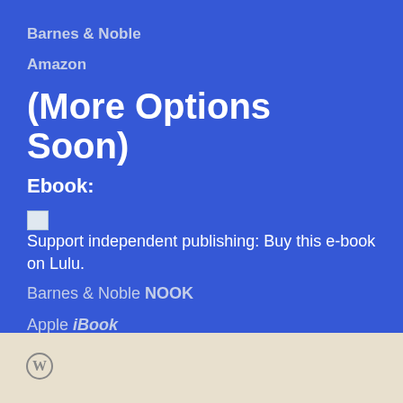Barnes & Noble
Amazon
(More Options Soon)
Ebook:
Support independent publishing: Buy this e-book on Lulu.
Barnes & Noble NOOK
Apple iBook
Kobo
WordPress logo